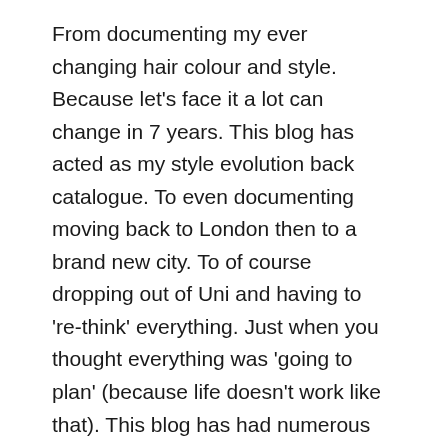From documenting my ever changing hair colour and style. Because let's face it a lot can change in 7 years. This blog has acted as my style evolution back catalogue. To even documenting moving back to London then to a brand new city. To of course dropping out of Uni and having to 're-think' everything. Just when you thought everything was 'going to plan' (because life doesn't work like that). This blog has had numerous make-overs to keep the content looking fresh and engaging.
Blogging itself is not as popular as it once was, with the likes of Instagram taking the crown (for the time being). I do absolutely love Instagram. It's by far my favourite social media platform. But if Instagram goes down, then what happens next. At least if you have invested time into a blog/website you've always got that to fall back